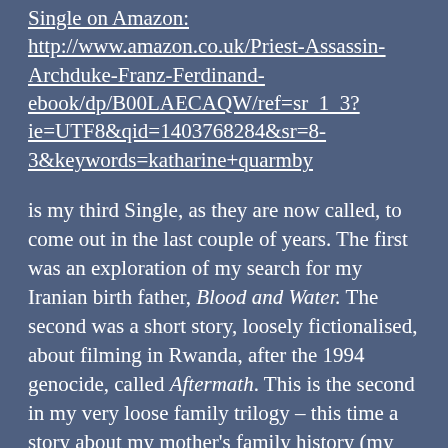Single on Amazon: http://www.amazon.co.uk/Priest-Assassin-Archduke-Franz-Ferdinand-ebook/dp/B00LAECAQW/ref=sr_1_3?ie=UTF8&qid=1403768284&sr=8-3&keywords=katharine+quarmby
is my third Single, as they are now called, to come out in the last couple of years. The first was an exploration of my search for my Iranian birth father, Blood and Water. The second was a short story, loosely fictionalised, about filming in Rwanda, after the 1994 genocide, called Aftermath. This is the second in my very loose family trilogy – this time a story about my mother's family history (my adoptive mother) who is half Serbian, Spanish and...